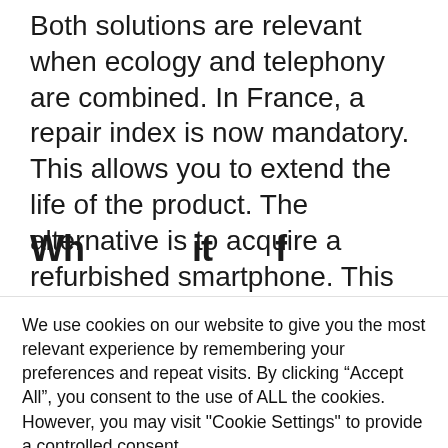Both solutions are relevant when ecology and telephony are combined. In France, a repair index is now mandatory. This allows you to extend the life of the product. The alternative is to acquire a refurbished smartphone. This avoids the production of a new device and at the same time gives a model a new life.
Wh...
We use cookies on our website to give you the most relevant experience by remembering your preferences and repeat visits. By clicking “Accept All”, you consent to the use of ALL the cookies. However, you may visit "Cookie Settings" to provide a controlled consent.